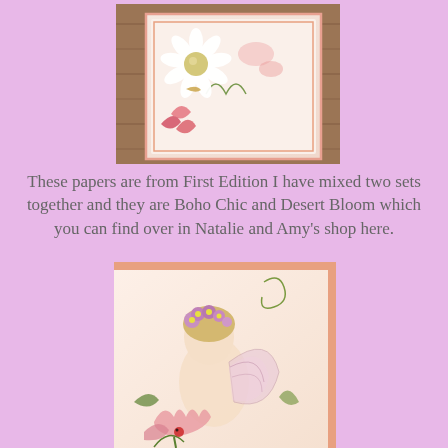[Figure (photo): Close-up photo of a handmade greeting card with a white daisy flower embellishment with a pearl center, pink floral paper, and decorative elements on a wooden background.]
These papers are from First Edition I have mixed two sets together and they are Boho Chic and Desert Bloom which you can find over in Natalie and Amy's shop here.
[Figure (photo): Close-up photo of a fairy illustration on a card, showing a fairy with flowers in her hair and butterfly wings, surrounded by pink flowers, with pink decorative paper border.]